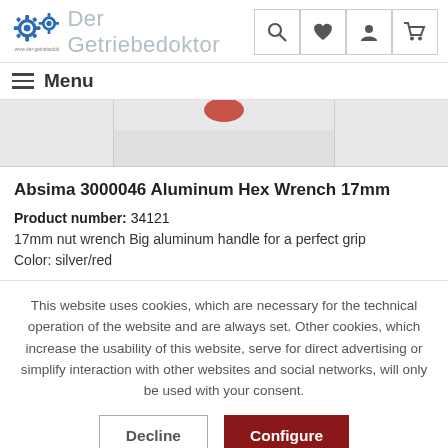[Figure (logo): Der Getriebedoktor logo with gear icons and site name]
Menu
[Figure (photo): Partial product image of Absima Aluminum Hex Wrench 17mm with red element visible]
Absima 3000046 Aluminum Hex Wrench 17mm
Product number: 34121
17mm nut wrench Big aluminum handle for a perfect grip
Color: silver/red
This website uses cookies, which are necessary for the technical operation of the website and are always set. Other cookies, which increase the usability of this website, serve for direct advertising or simplify interaction with other websites and social networks, will only be used with your consent.
Decline | Configure